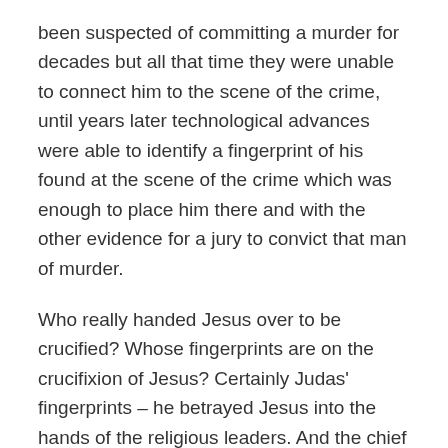been suspected of committing a murder for decades but all that time they were unable to connect him to the scene of the crime, until years later technological advances were able to identify a fingerprint of his found at the scene of the crime which was enough to place him there and with the other evidence for a jury to convict that man of murder.
Who really handed Jesus over to be crucified? Whose fingerprints are on the crucifixion of Jesus? Certainly Judas' fingerprints – he betrayed Jesus into the hands of the religious leaders. And the chief priests and scribes – their prints are all over the scene as they rejected Jesus and handed him over to Pontius Pilate. Pontius Pilate tried to wash his hands of responsibility for handing Jesus over to be crucified, but the water...